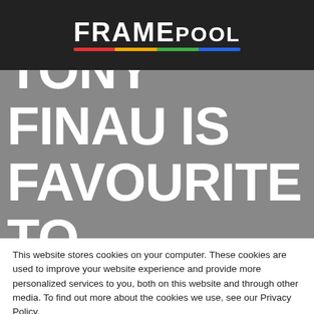[Figure (logo): Framepool logo — white bold text on dark background with colored underline bar]
TONY FINAU IS FAVOURITE TO
This website stores cookies on your computer. These cookies are used to improve your website experience and provide more personalized services to you, both on this website and through other media. To find out more about the cookies we use, see our Privacy Policy.
We won't track your information when you visit our site. But in order to comply with your preferences, we'll have to use just one tiny cookie so that you're not asked to make this choice again.
Accept
Decline